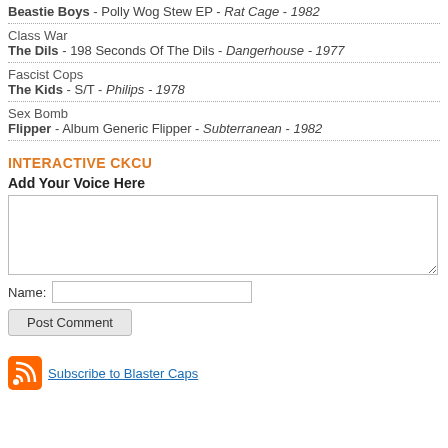Beastie Boys - Polly Wog Stew EP - Rat Cage - 1982
Class War
The Dils - 198 Seconds Of The Dils - Dangerhouse - 1977
Fascist Cops
The Kids - S/T - Philips - 1978
Sex Bomb
Flipper - Album Generic Flipper - Subterranean - 1982
INTERACTIVE CKCU
Add Your Voice Here
Name:
Post Comment
Subscribe to Blaster Caps